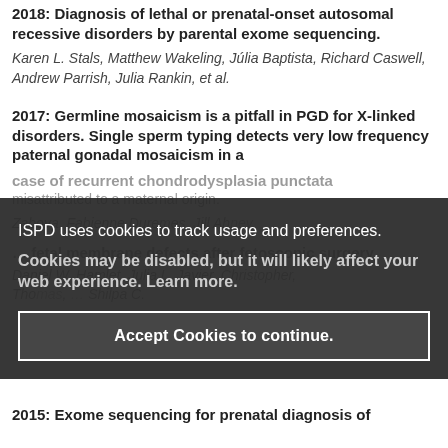2018: Diagnosis of lethal or prenatal-onset autosomal recessive disorders by parental exome sequencing.
Karen L. Stals, Matthew Wakeling, Júlia Baptista, Richard Caswell, Andrew Parrish, Julia Rankin, et al.
2017: Germline mosaicism is a pitfall in PGD for X-linked disorders. Single sperm typing detects very low frequency paternal gonadal mosaicism in a case of recurrent chondrodysplasia punctata misattributed to a maternal origin.
[faded authors line]
[faded title continuation - fetal membrane defects after fetoscopic surgery]
[faded authors - Daniel W, Hamlet, Julia L, Javier, Christopher, Thomas, ..., Shilpa C.]
[Figure (screenshot): Cookie consent overlay banner with dark background. Text: 'ISPD uses cookies to track usage and preferences. Cookies may be disabled, but it will likely affect your web experience. Learn more.' Button: 'Accept Cookies to continue.']
2015: Exome sequencing for prenatal diagnosis of